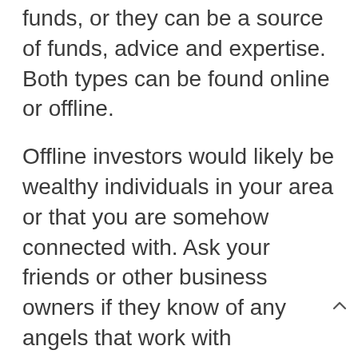funds, or they can be a source of funds, advice and expertise. Both types can be found online or offline.
Offline investors would likely be wealthy individuals in your area or that you are somehow connected with. Ask your friends or other business owners if they know of any angels that work with businesses like yours. Angels will do their research on your business, so you'll need to research them as well — if you're a medical device company, for example, don't target angel investors that are exclusively interested in retail.
Online investment platforms are another option for finding angel investors. Sites like OneVest, FundersClub, and Seedrs connect